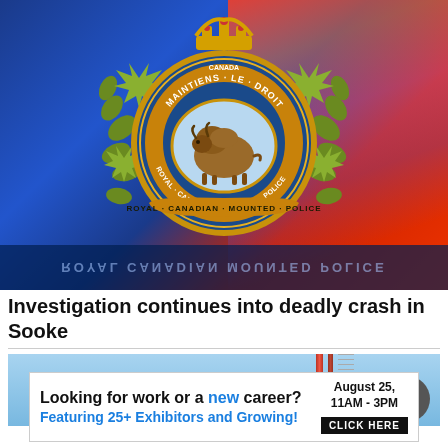[Figure (photo): RCMP (Royal Canadian Mounted Police) badge/crest on a blue and red flashing police lights background, with a reflection of the badge text below]
Investigation continues into deadly crash in Sooke
[Figure (photo): Partial view of what appears to be a thermometer or measuring pole against a blue sky background]
Looking for work or a new career? August 25, 11AM - 3PM Featuring 25+ Exhibitors and Growing! CLICK HERE